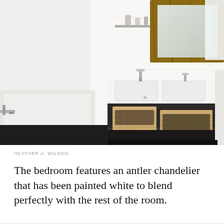[Figure (photo): Interior bathroom photo showing a floating vanity with a white rectangular double sink, chrome faucets, two wicker storage baskets underneath on a dark metal shelf, a rustic wood-framed mirror above, a white tiled wall, and a bathtub visible on the left side. Dark floor.]
HEATHER A. WILSON
The bedroom features an antler chandelier that has been painted white to blend perfectly with the rest of the room.